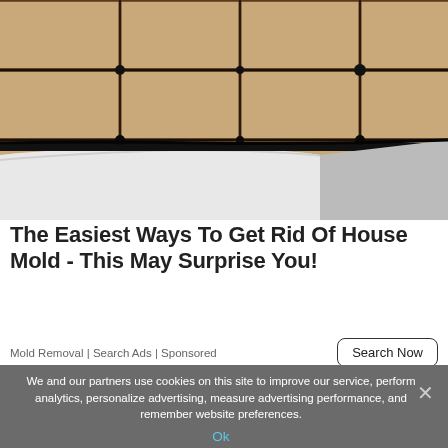[Figure (photo): A hand wearing a pink rubber glove pointing at black mold along the caulk line between a white bathtub and beige/tan ceramic wall tiles.]
The Easiest Ways To Get Rid Of House Mold - This May Surprise You!
Mold Removal | Search Ads | Sponsored
We and our partners use cookies on this site to improve our service, perform analytics, personalize advertising, measure advertising performance, and remember website preferences.
Ok